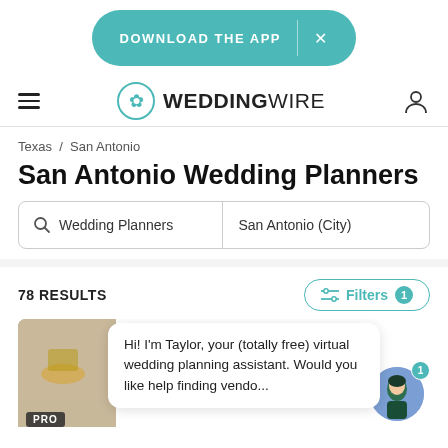[Figure (screenshot): WeddingWire app download banner button with teal background, 'DOWNLOAD THE APP' text and close X button]
[Figure (logo): WeddingWire logo with teal flower icon and WEDDINGWIRE text]
Texas / San Antonio
San Antonio Wedding Planners
Wedding Planners | San Antonio (City)
78 RESULTS
Filters 1
Hi! I'm Taylor, your (totally free) virtual wedding planning assistant. Would you like help finding vendo...
[Figure (illustration): PRO badge on a vendor card thumbnail with a decorative gold piece and a chat avatar of an illustrated woman]